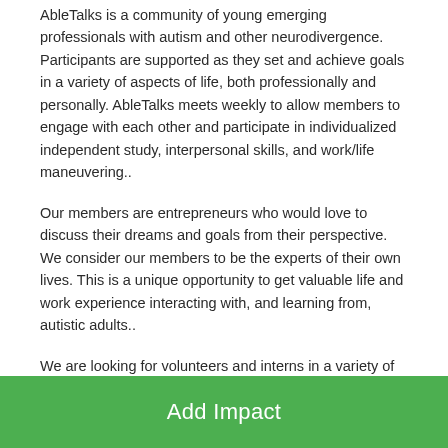AbleTalks is a community of young emerging professionals with autism and other neurodivergence. Participants are supported as they set and achieve goals in a variety of aspects of life, both professionally and personally. AbleTalks meets weekly to allow members to engage with each other and participate in individualized independent study, interpersonal skills, and work/life maneuvering..
Our members are entrepreneurs who would love to discuss their dreams and goals from their perspective. We consider our members to be the experts of their own lives. This is a unique opportunity to get valuable life and work experience interacting with, and learning from, autistic adults..
We are looking for volunteers and interns in a variety of capacities- both hands-on and behind the scenes positions are available. Time commitments are flexible to student schedules. 1 in 44 children are diagnosed with autism each year. For that reason volunteering with us will give important
Add Impact